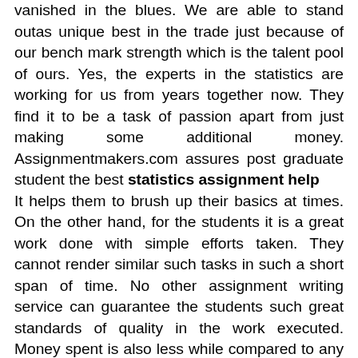vanished in the blues. We are able to stand outas unique best in the trade just because of our bench mark strength which is the talent pool of ours. Yes, the experts in the statistics are working for us from years together now. They find it to be a task of passion apart from just making some additional money. Assignmentmakers.com assures post graduate student the best statistics assignment help It helps them to brush up their basics at times. On the other hand, for the students it is a great work done with simple efforts taken. They cannot render similar such tasks in such a short span of time. No other assignment writing service can guarantee the students such great standards of quality in the work executed. Money spent is also less while compared to any other good assignment writing service. Hence, for all these reasons, they always keep coming to us, for their variety of needs on different occasions. statistics experts believe in Assignmentmakers.com for long term assignments and students rely upon us too. Please contact us at info@assignmentmakers.com for any any help related to assignments in any subject of any